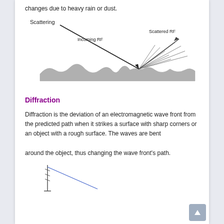changes due to heavy rain or dust.
[Figure (illustration): Scattering diagram showing an incoming RF wave hitting a rough surface and scattering into multiple rays labeled 'Scattered RF'. The surface is shown as a bumpy grey terrain.]
Diffraction
Diffraction is the deviation of an electromagnetic wave front from the predicted path when it strikes a surface with sharp corners or an object with a rough surface. The waves are bent around the object, thus changing the wave front's path.
[Figure (illustration): Diffraction diagram showing a tower/antenna with a wave bending around an object.]